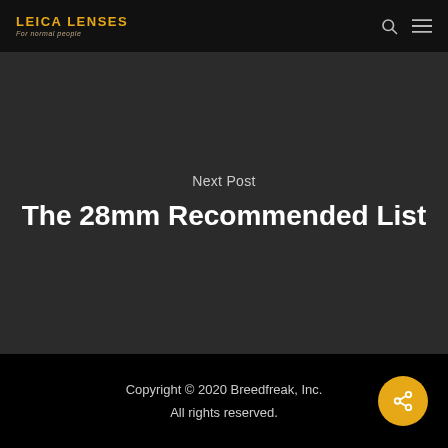LEICA LENSES For normal people
Next Post
The 28mm Recommended List
Copyright © 2020 Breedfreak, Inc. All rights reserved.